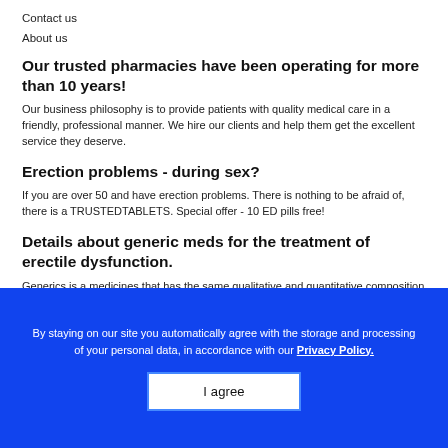Contact us
About us
Our trusted pharmacies have been operating for more than 10 years!
Our business philosophy is to provide patients with quality medical care in a friendly, professional manner. We hire our clients and help them get the excellent service they deserve.
Erection problems - during sex?
If you are over 50 and have erection problems. There is nothing to be afraid of, there is a TRUSTEDTABLETS. Special offer - 10 ED pills free!
Details about generic meds for the treatment of erectile dysfunction.
Generics is a medicines that has the same qualitative and quantitative composition of active ingredients and the same pharmaceutical form as the original medicine. The main difference lies in the name: the generic gets the name of the medicinal substance
By staying on our site you automatically agree with the storage and processing of your personal data, in accordance with our Privacy Policy.
I agree